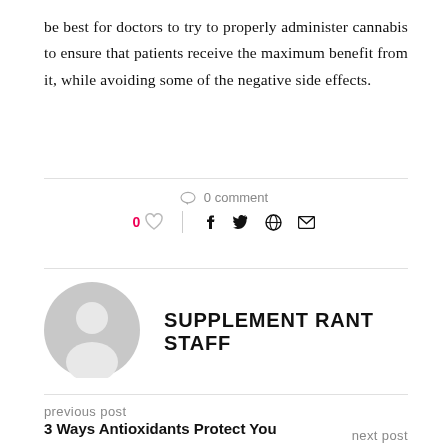be best for doctors to try to properly administer cannabis to ensure that patients receive the maximum benefit from it, while avoiding some of the negative side effects.
0 comment
0 ♡  f  t  ⊛  ✉
[Figure (illustration): Gray circular avatar/profile icon placeholder]
SUPPLEMENT RANT STAFF
previous post
3 Ways Antioxidants Protect You
next post